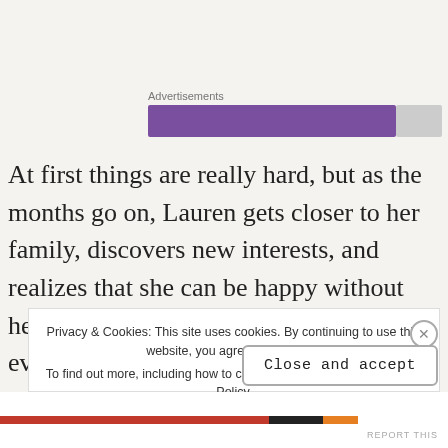Advertisements
[Figure (other): Purple advertisement banner with gray placeholder alongside]
At first things are really hard, but as the months go on, Lauren gets closer to her family, discovers new interests, and realizes that she can be happy without her husband. She starts questioning everything about herself and her relationship, no longer sure if what they had is fixable or if she even wants to
Privacy & Cookies: This site uses cookies. By continuing to use this website, you agree to their use. To find out more, including how to control cookies, see here: Cookie Policy
Close and accept